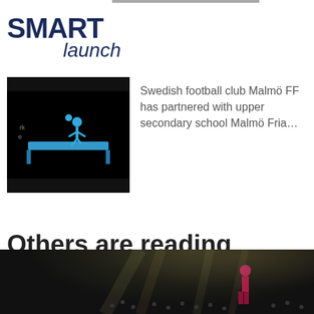[Figure (logo): SMARTlaunch logo with bold uppercase SMART and italic launch text in dark navy blue]
[Figure (photo): Dark image with blue silhouette of a football player on a platform, black top and bottom bars]
Swedish football club Malmö FF has partnered with upper secondary school Malmö Fria…
Others are reading
[Figure (photo): Bottom image showing a stage with lights and performers, blue block on left side]